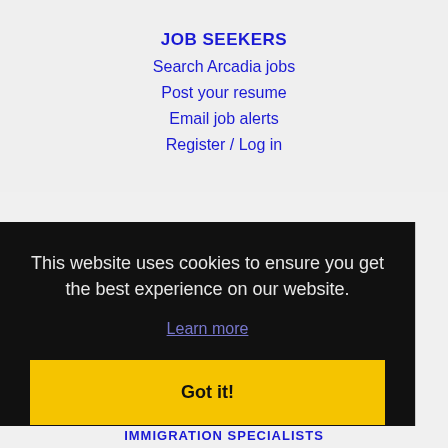JOB SEEKERS
Search Arcadia jobs
Post your resume
Email job alerts
Register / Log in
This website uses cookies to ensure you get the best experience on our website.
Learn more
Got it!
IMMIGRATION SPECIALISTS